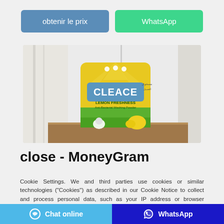[Figure (other): Two call-to-action buttons: 'obtenir le prix' (blue) and 'WhatsApp' (green)]
[Figure (photo): Product photo of a yellow bag of CLEACE Lemon Freshness washing powder on a wooden surface against a white curtain background]
close - MoneyGram
Cookie Settings. We and third parties use cookies or similar technologies ("Cookies") as described in our Cookie Notice to collect and process personal data, such as your IP address or browser information. You can learn more about how this site uses
Chat online   WhatsApp